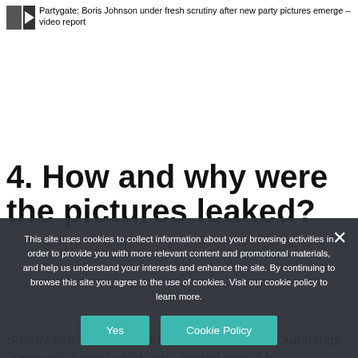Partygate: Boris Johnson under fresh scrutiny after new party pictures emerge – video report
4. How and why were the pictures leaked?
Shortly before they were published, Dominic Cummings, Johnson's former chief aide, posted one of his intermittent blogposts.
This site uses cookies to collect information about your browsing activities in order to provide you with more relevant content and promotional materials, and help us understand your interests and enhance the site. By continuing to browse this site you agree to the use of cookies. Visit our cookie policy to learn more.